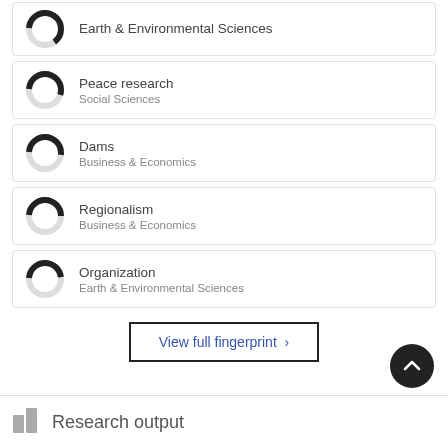Earth & Environmental Sciences
Peace research
Social Sciences
Dams
Business & Economics
Regionalism
Business & Economics
Organization
Earth & Environmental Sciences
View full fingerprint ›
Research output